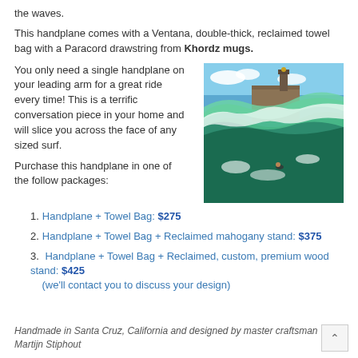the waves.
This handplane comes with a Ventana, double-thick, reclaimed towel bag with a Paracord drawstring from Khordz mugs.
You only need a single handplane on your leading arm for a great ride every time! This is a terrific conversation piece in your home and will slice you across the face of any sized surf.
[Figure (photo): Surfer riding inside a large wave near a stone lighthouse/pier structure. Dynamic action shot from inside the barrel of the wave with green and white water.]
Purchase this handplane in one of the follow packages:
Handplane + Towel Bag: $275
Handplane + Towel Bag + Reclaimed mahogany stand: $375
Handplane + Towel Bag + Reclaimed, custom, premium wood stand: $425 (we'll contact you to discuss your design)
Handmade in Santa Cruz, California and designed by master craftsman Martijn Stiphout